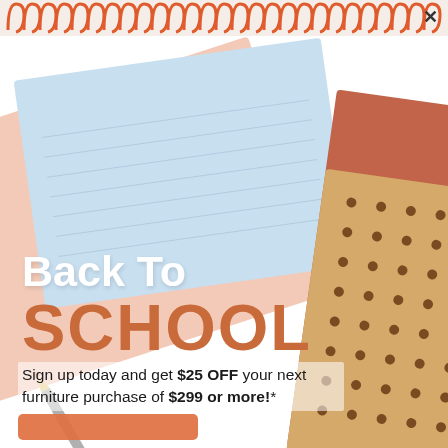[Figure (illustration): Back to school promotional advertisement showing stacked notebooks in pastel blue, pink, and tan/kraft with polka dots, with a spiral binding decoration at the top and an orange-red close (X) button]
Back To SCHOOL
Sign up today and get $25 OFF your next furniture purchase of $299 or more!*